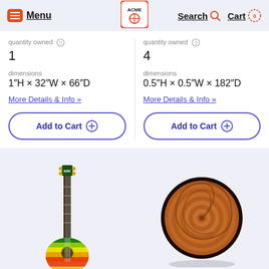Menu | ACME | Search | Cart 0
quantity owned
1
dimensions
1″H × 32″W × 66″D
More Details & Info »
Add to Cart ⊕
quantity owned
4
dimensions
0.5″H × 0.5″W × 182″D
More Details & Info »
Add to Cart ⊕
[Figure (photo): Colorful ukulele with rainbow stripes (green, yellow, red), dark fretboard, standing upright]
[Figure (photo): Round wooden decorative object with spiral/swirl pattern carved into it, brown terracotta tones]